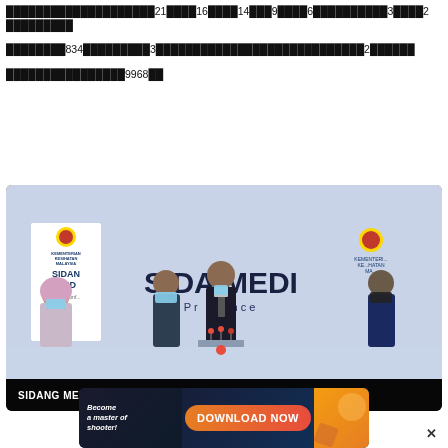████████████████████21████16████14███9████6██████████3████2 █████████
████████834█████████3████████████████████████████2██████
████████████████9968██
[Figure (photo): Press conference scene labeled 'SIDANG MEDIA COVID-19'. Four people wearing masks stand at a podium with Malaysian government health ministry branding. Large 'SIDANG MEDIA / Press Conference' backdrop visible. Caption bar at bottom reads 'SIDANG MEDIA COVID-19' with X close button.]
[Figure (infographic): Advertisement banner with 'Become a master of shooter!' text on dark background, orange 'DOWNLOAD NOW' button, and colorful game graphics on right side.]